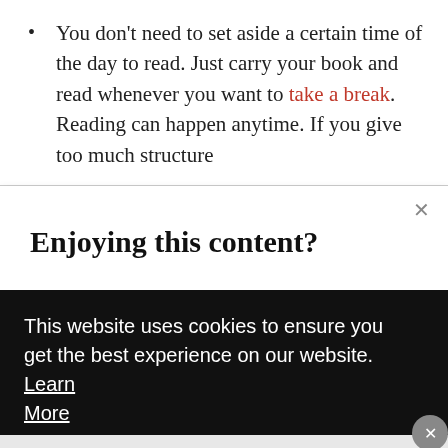You don't need to set aside a certain time of the day to read. Just carry your book and read whenever you want to take a break. Reading can happen anytime. If you give too much structure
Enjoying this content?
Get this article and many more delivered straight to
This website uses cookies to ensure you get the best experience on our website.  Learn More